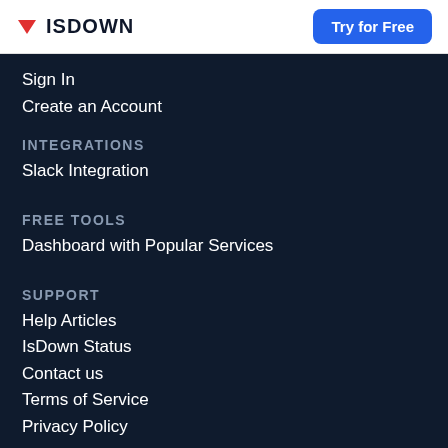ISDOWN | Try for Free
Sign In
Create an Account
INTEGRATIONS
Slack Integration
FREE TOOLS
Dashboard with Popular Services
SUPPORT
Help Articles
IsDown Status
Contact us
Terms of Service
Privacy Policy